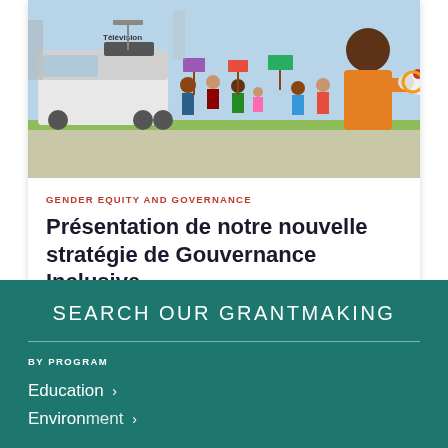[Figure (illustration): Colorful illustrated scene of a protest or public gathering with diverse people holding signs and a figure in orange holding a megaphone, with a television broadcast van labeled 'Télévision' in the background.]
GENDER EQUITY AND GOVERNANCE
Présentation de notre nouvelle stratégie de Gouvernance Inclusive
SEARCH OUR GRANTMAKING
BY PROGRAM
Education >
Environment >